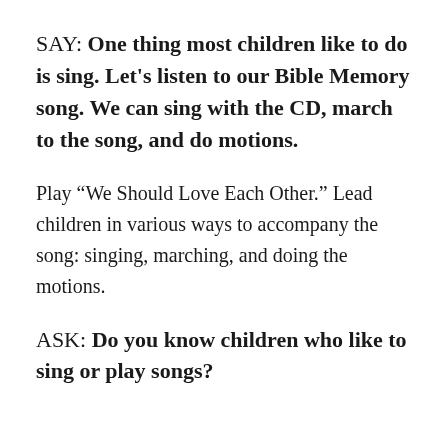SAY: One thing most children like to do is sing. Let’s listen to our Bible Memory song. We can sing with the CD, march to the song, and do motions.
Play “We Should Love Each Other.” Lead children in various ways to accompany the song: singing, marching, and doing the motions.
ASK: Do you know children who like to sing or play songs?